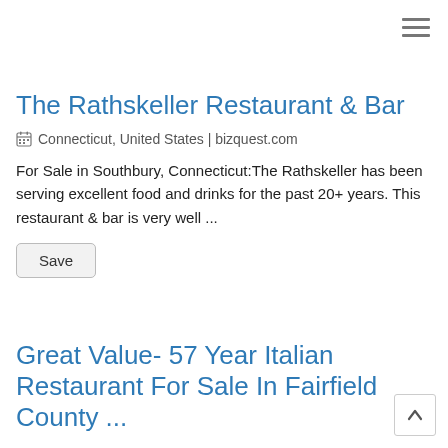The Rathskeller Restaurant & Bar
Connecticut, United States | bizquest.com
For Sale in Southbury, Connecticut:The Rathskeller has been serving excellent food and drinks for the past 20+ years. This restaurant & bar is very well ...
Great Value- 57 Year Italian Restaurant For Sale In Fairfield County ...